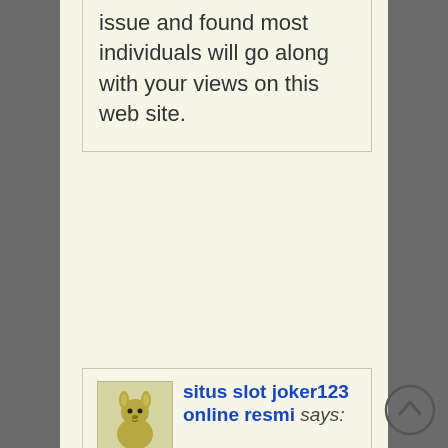issue and found most individuals will go along with your views on this web site.
situs slot joker123 online resmi says:
April 8, 2021 at 7:04 pm

That is a good tip particularly to those fresh to the blogosphere. Brief but very precise info Appreciate your